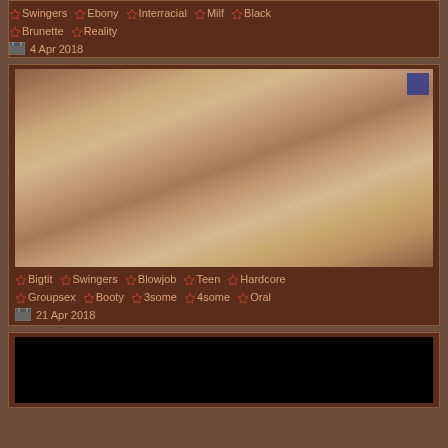Swingers  Ebony  Interracial  Milf  Black  Brunette  Reality
4 Apr 2018
[Figure (photo): Thumbnail image of video content with a small blue corner icon]
Bigtit  Swingers  Blowjob  Teen  Hardcore  Groupsex  Booty  3some  4some  Oral
21 Apr 2018
[Figure (photo): Black thumbnail placeholder for video content]